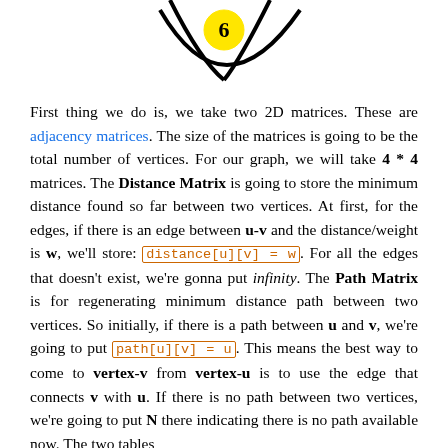[Figure (other): Partial view of a graph diagram showing curved edges and a node labeled 6 in the center bottom area. The node appears as a yellow circle with black curved edges connecting to other nodes above.]
First thing we do is, we take two 2D matrices. These are adjacency matrices. The size of the matrices is going to be the total number of vertices. For our graph, we will take 4 * 4 matrices. The Distance Matrix is going to store the minimum distance found so far between two vertices. At first, for the edges, if there is an edge between u-v and the distance/weight is w, we'll store: distance[u][v] = w. For all the edges that doesn't exist, we're gonna put infinity. The Path Matrix is for regenerating minimum distance path between two vertices. So initially, if there is a path between u and v, we're going to put path[u][v] = u. This means the best way to come to vertex-v from vertex-u is to use the edge that connects v with u. If there is no path between two vertices, we're going to put N there indicating there is no path available now. The two tables